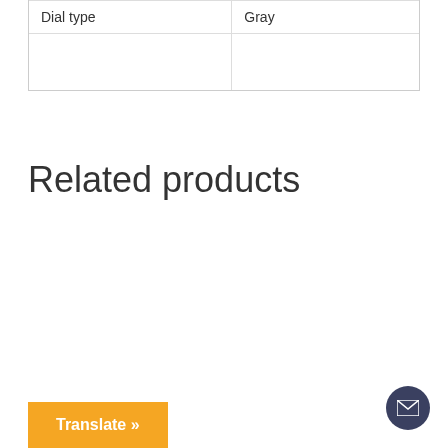| Dial type | Gray |
|  |  |
Related products
Translate »